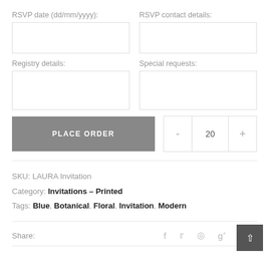RSVP date (dd/mm/yyyy):
RSVP contact details:
Registry details:
Special requests:
PLACE ORDER
20
SKU: LAURA Invitation
Category: Invitations – Printed
Tags: Blue, Botanical, Floral, Invitation, Modern
Share: